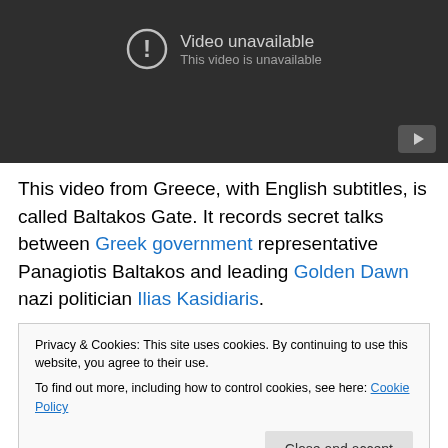[Figure (screenshot): YouTube video player showing 'Video unavailable' message with an exclamation mark icon, subtitle text 'This video is unavailable', and a YouTube play button in the bottom right corner. Background is dark gray.]
This video from Greece, with English subtitles, is called Baltakos Gate. It records secret talks between Greek government representative Panagiotis Baltakos and leading Golden Dawn nazi politician Ilias Kasidiaris.
Privacy & Cookies: This site uses cookies. By continuing to use this website, you agree to their use.
To find out more, including how to control cookies, see here: Cookie Policy
Close and accept
THE Secretary of the Greek government, Panagiotis